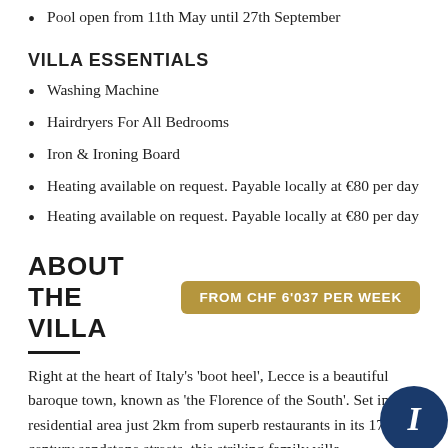Pool open from 11th May until 27th September
VILLA ESSENTIALS
Washing Machine
Hairdryers For All Bedrooms
Iron & Ironing Board
Heating available on request. Payable locally at €80 per day
Heating available on request. Payable locally at €80 per day
ABOUT THE VILLA
FROM CHF 6'037 PER WEEK
Right at the heart of Italy's 'boot heel', Lecce is a beautiful baroque town, known as 'the Florence of the South'. Set in a residential area just 2km from superb restaurants in its 17th century sandstone streets, this striking family villa